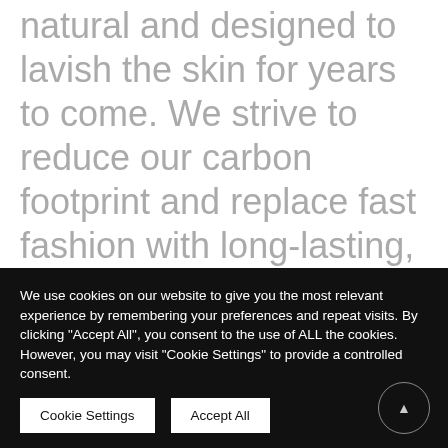natural and designed to lavish the skin for years to come. We strive to reduce our carbon footprint and replace fast fashion with long-lasting, ethical materials. That's why wherever and however you use our products, they'll always be safe and healthy for the environment.
We use cookies on our website to give you the most relevant experience by remembering your preferences and repeat visits. By clicking "Accept All", you consent to the use of ALL the cookies. However, you may visit "Cookie Settings" to provide a controlled consent.